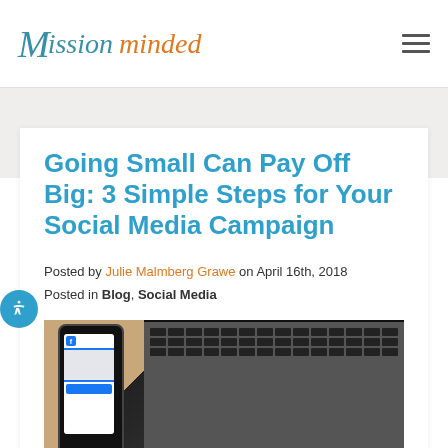Mission minded
Going Small Can Pay Off Big: 3 Simple Steps for Your Social Media Campaign
Posted by Julie Malmberg Grawe on April 16th, 2018
Posted in Blog, Social Media
[Figure (photo): A smartphone displaying a Facebook page leaning against a laptop keyboard on a wooden surface]